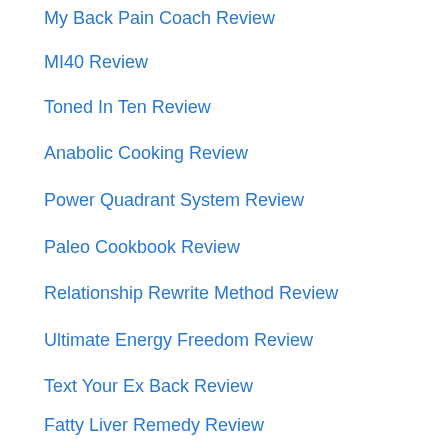My Back Pain Coach Review
MI40 Review
Toned In Ten Review
Anabolic Cooking Review
Power Quadrant System Review
Paleo Cookbook Review
Relationship Rewrite Method Review
Ultimate Energy Freedom Review
Text Your Ex Back Review
Fatty Liver Remedy Review